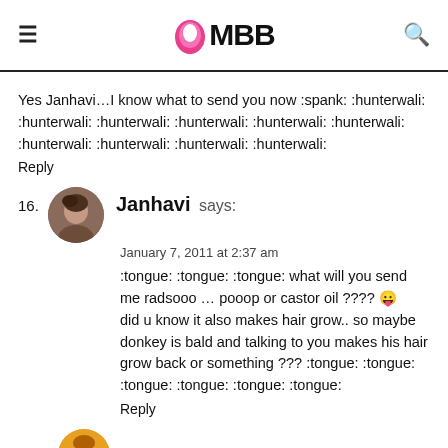IMBB
Yes Janhavi…I know what to send you now :spank: :hunterwali: :hunterwali: :hunterwali: :hunterwali: :hunterwali: :hunterwali: :hunterwali: :hunterwali: :hunterwali: :hunterwali:
Reply
16. Janhavi says:
January 7, 2011 at 2:37 am
:tongue: :tongue: :tongue: what will you send me radsooo … pooop or castor oil ???? 😛 did u know it also makes hair grow.. so maybe donkey is bald and talking to you makes his hair grow back or something ??? :tongue: :tongue: :tongue: :tongue: :tongue: :tongue:
Reply